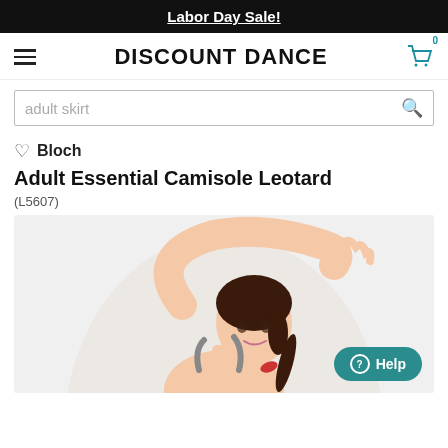Labor Day Sale!
DISCOUNT DANCE
adult skirt
Bloch
Adult Essential Camisole Leotard
(L5607)
[Figure (photo): A female dancer in a camisole leotard with her arm raised above her head, dark hair in a ponytail, against a light gray background.]